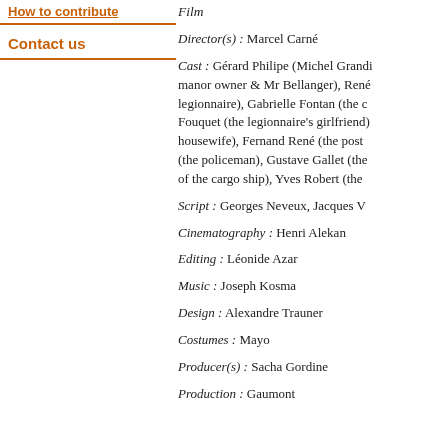How to contribute
Contact us
Film
Director(s) : Marcel Carné
Cast : Gérard Philipe (Michel Grandi... manor owner & Mr Bellanger), René... legionnaire), Gabrielle Fontan (the c... Fouquet (the legionnaire's girlfriend)... housewife), Fernand René (the post... (the policeman), Gustave Gallet (the... of the cargo ship), Yves Robert (the...
Script : Georges Neveux, Jacques V...
Cinematography : Henri Alekan
Editing : Léonide Azar
Music : Joseph Kosma
Design : Alexandre Trauner
Costumes : Mayo
Producer(s) : Sacha Gordine
Production : Gaumont